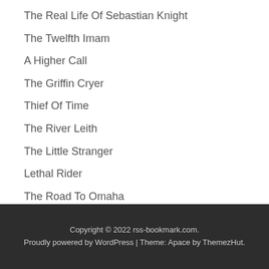The Real Life Of Sebastian Knight
The Twelfth Imam
A Higher Call
The Griffin Cryer
Thief Of Time
The River Leith
The Little Stranger
Lethal Rider
The Road To Omaha
Harbingers
Copyright © 2022 rss-bookmark.com. Proudly powered by WordPress | Theme: Apace by ThemezHut.